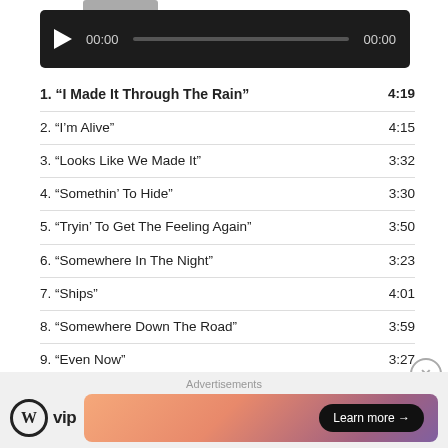[Figure (screenshot): Audio player bar with play button, time 00:00, progress bar, end time 00:00, dark background]
1. “I Made It Through The Rain”  4:19
2. “I’m Alive”  4:15
3. “Looks Like We Made It”  3:32
4. “Somethin’ To Hide”  3:30
5. “Tryin’ To Get The Feeling Again”  3:50
6. “Somewhere In The Night”  3:23
7. “Ships”  4:01
8. “Somewhere Down The Road”  3:59
9. “Even Now”  3:27
10. “(Everything I Do) I Do It for You”  6:34
11. “Sorry”  3:46
12. “Hard Life”  3:27
13. “F*cK You”  3:45
14. “Dear Mr. President (feat. Indigo Girls)”  4:34
Advertisements
[Figure (logo): WordPress VIP logo and Learn more ad banner]